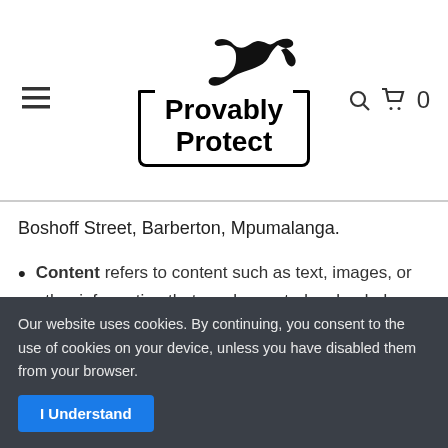[Figure (logo): Provably Protect logo with panther silhouette above bracketed text]
Boshoff Street, Barberton, Mpumalanga.
Content refers to content such as text, images, or other information that can be posted, uploaded, linked to or otherwise made available by You, regardless of the form of that content.
Our website uses cookies. By continuing, you consent to the use of cookies on your device, unless you have disabled them from your browser.